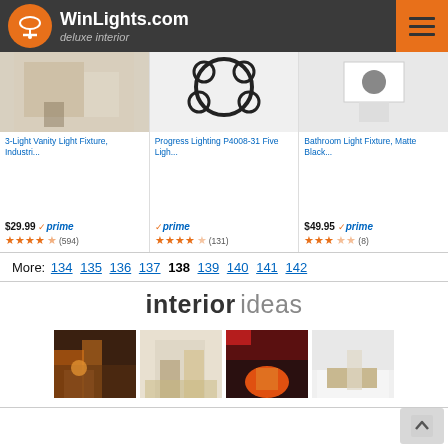WinLights.com deluxe interior
[Figure (screenshot): Product card: 3-Light Vanity Light Fixture, Industri... $29.99 prime, 4.5 stars (594) reviews]
[Figure (screenshot): Product card: Progress Lighting P4008-31 Five Ligh... prime only, 4 stars (131) reviews]
[Figure (screenshot): Product card: Bathroom Light Fixture, Matte Black... $49.95 prime, 3.5 stars (8) reviews]
More: 134 135 136 137 138 139 140 141 142
interior ideas
[Figure (photo): Four thumbnail interior design images showing various lighting scenarios]
Back to top button